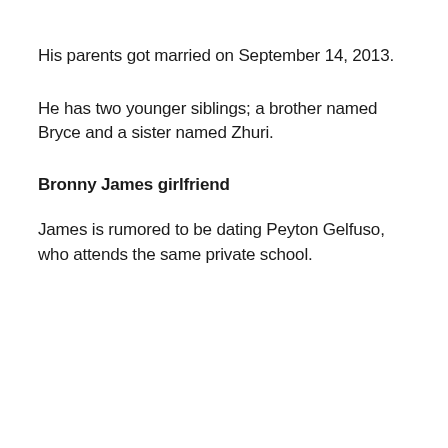His parents got married on September 14, 2013.
He has two younger siblings; a brother named Bryce and a sister named Zhuri.
Bronny James girlfriend
James is rumored to be dating Peyton Gelfuso, who attends the same private school.